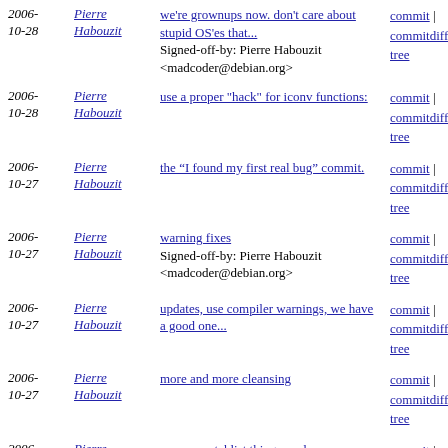| Date | Author | Message | Links |
| --- | --- | --- | --- |
| 2006-10-28 | Pierre Habouzit | we're grownups now. don't care about stupid OS'es that... Signed-off-by: Pierre Habouzit <madcoder@debian.org> | commit | commitdiff | tree |
| 2006-10-28 | Pierre Habouzit | use a proper "hack" for iconv functions: | commit | commitdiff | tree |
| 2006-10-27 | Pierre Habouzit | the “I found my first real bug” commit. | commit | commitdiff | tree |
| 2006-10-27 | Pierre Habouzit | warning fixes Signed-off-by: Pierre Habouzit <madcoder@debian.org> | commit | commitdiff | tree |
| 2006-10-27 | Pierre Habouzit | updates, use compiler warnings, we have a good one... | commit | commitdiff | tree |
| 2006-10-27 | Pierre Habouzit | more and more cleansing | commit | commitdiff | tree |
| 2006-10-27 | Pierre Habouzit | remove patchlist things, and more generated and commited... | commit | commitdiff | tree |
| 2006- | Pierre | configure with almost all | commit | commitdiff |